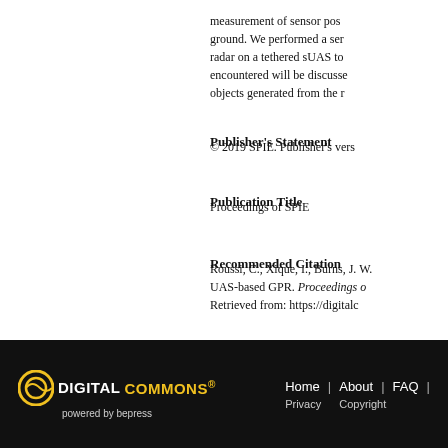measurement of sensor pos ground. We performed a ser radar on a tethered sUAS to encountered will be discusse objects generated from the r
Publisher's Statement
© 2019 SPIE. Publisher's vers
Publication Title
Proceedings of SPIE
Recommended Citation
Roussi, C., Xique, I., Burns, J. W. UAS-based GPR. Proceedings o Retrieved from: https://digitalc
DIGITAL COMMONS powered by bepress | Home | About | FAQ | Privacy | Copyright